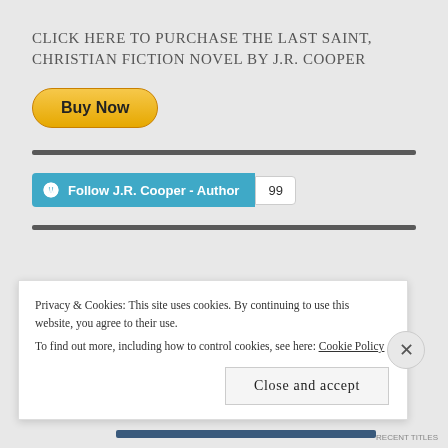CLICK HERE TO PURCHASE THE LAST SAINT, CHRISTIAN FICTION NOVEL BY J.R. COOPER
[Figure (other): PayPal Buy Now button - yellow rounded rectangle button with bold text 'Buy Now']
[Figure (other): WordPress Follow button for J.R. Cooper - Author with follower count badge showing 99]
Privacy & Cookies: This site uses cookies. By continuing to use this website, you agree to their use.
To find out more, including how to control cookies, see here: Cookie Policy
Close and accept